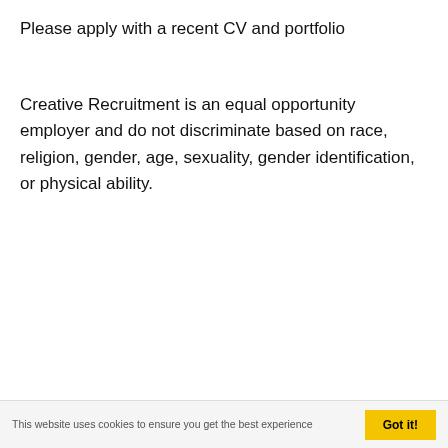Please apply with a recent CV and portfolio
Creative Recruitment is an equal opportunity employer and do not discriminate based on race, religion, gender, age, sexuality, gender identification, or physical ability.
This website uses cookies to ensure you get the best experience